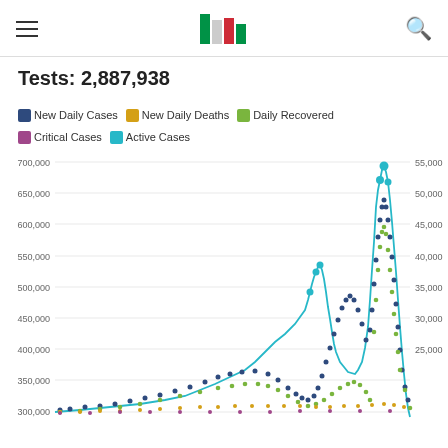Tests: 2,887,938
New Daily Cases  New Daily Deaths  Daily Recovered  Critical Cases  Active Cases
[Figure (continuous-plot): Multi-series line/scatter chart showing COVID-19 statistics over time including New Daily Cases (dark blue dots), New Daily Deaths (orange/yellow dots), Daily Recovered (green dots), Critical Cases (purple dots), and Active Cases (teal/cyan line). Left y-axis ranges from 300,000 to 700,000, right y-axis ranges from 25,000 to 55,000. Two prominent peaks visible: first peak around 480,000 active cases, second higher peak around 675,000 active cases. New Daily Cases peak near 450,000 on left axis / ~35,000 on right axis.]